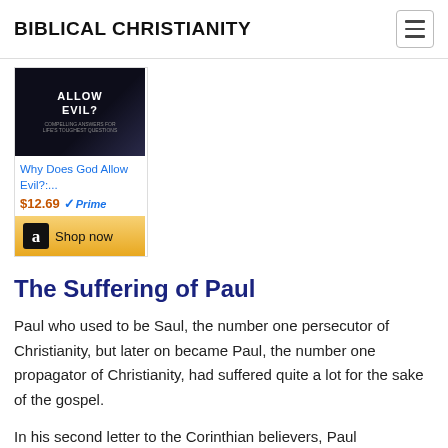BIBLICAL CHRISTIANITY
[Figure (other): Book product widget showing 'Why Does God Allow Evil?:...' priced at $12.69 with Prime badge and Amazon Shop now button]
The Suffering of Paul
Paul who used to be Saul, the number one persecutor of Christianity, but later on became Paul, the number one propagator of Christianity, had suffered quite a lot for the sake of the gospel.
In his second letter to the Corinthian believers, Paul